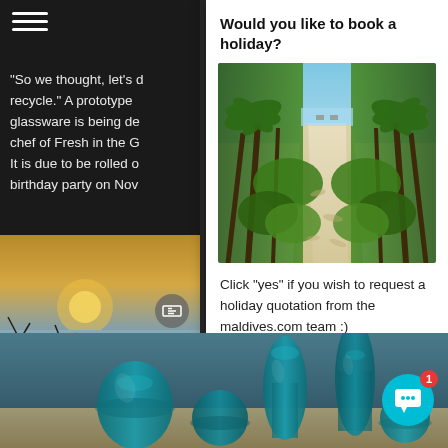“So we thought, let’s d… recycle.” A prototype… glassware is being de… chef of Fresh in the G… It is due to be rolled o… birthday party on Nov…
[Figure (photo): Beach at sunset with bare tree branches in foreground, calm water in background]
Would you like to book a holiday?
[Figure (photo): Tropical palm-lined sandy path leading to beach with blue sky]
Click "yes" if you wish to request a holiday quotation from the maldives.com team :)
[Figure (photo): Teal/turquoise glass vases and vessels arranged on sandy beach surface]